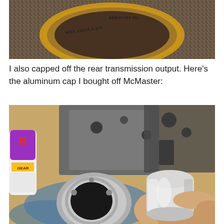[Figure (photo): Close-up photo of a circular air filter or gasket with text printed around the rim reading MAX 13510 3,200 80W/S, viewed from above on a textured surface.]
I also capped off the rear transmission output.  Here's the aluminum cap I bought off McMaster:
[Figure (photo): Photo of a person's hand holding a shiny aluminum cylindrical cap next to a transmission output port on a workbench, with a purple/white bottle of lubricant visible on the left.]